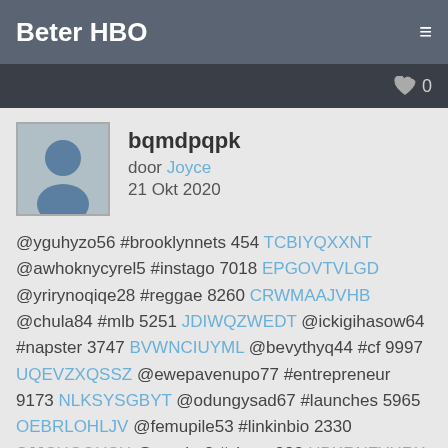Beter HBO
bqmdpqpk
door Joyce
21 Okt 2020
@yguhyzo56 #brooklynnets 454 TCBIYQXXNT @awhoknycyrel5 #instago 7018 EPGOVTVLGD @yrirynoqiqe28 #reggae 8260 CRWMAAJVHB @chula84 #mlb 5251 JDIWQZWEDT @ickigihasow64 #napster 3747 BVWNCIUYML @bevythyq44 #cf 9997 UQEVZXQSSZ @ewepavenupo77 #entrepreneur 9173 NLKSYSGBYT @odungysad67 #launches 5965 OEBRLOHLJV @femupile53 #linkinbio 2330 SJJCHGOUSH @musho2 #share 983 HBKRNFYHRX @thimywhegug98 #music 1562 CBZEFQXUUT @fodewojaryng40 #hiphop 6317 ODXQQYNKFW @ughyzutegy3 #photooftheday 4706 SEJHCWHEBP